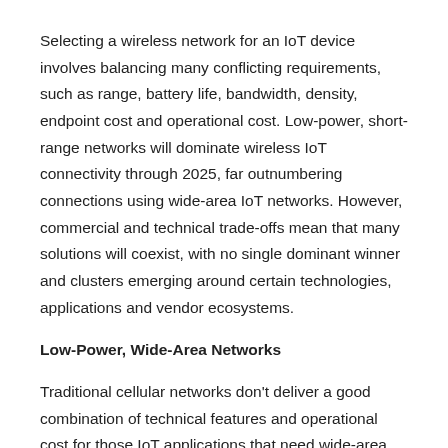Selecting a wireless network for an IoT device involves balancing many conflicting requirements, such as range, battery life, bandwidth, density, endpoint cost and operational cost. Low-power, short-range networks will dominate wireless IoT connectivity through 2025, far outnumbering connections using wide-area IoT networks. However, commercial and technical trade-offs mean that many solutions will coexist, with no single dominant winner and clusters emerging around certain technologies, applications and vendor ecosystems.
Low-Power, Wide-Area Networks
Traditional cellular networks don't deliver a good combination of technical features and operational cost for those IoT applications that need wide-area coverage combined with relatively low bandwidth, good battery life, low hardware and operating cost, and high connection density. The long-term goal of a wide-area IoT network is to deliver data rates from hundreds